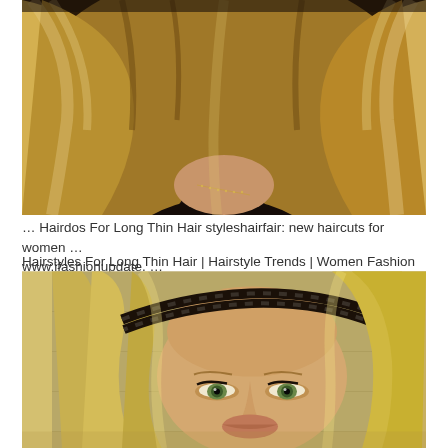[Figure (photo): Close-up photo of a woman with long, voluminous, wavy blonde hair with highlights, wearing a dark top with a delicate chain necklace.]
… Hairdos For Long Thin Hair styleshairfair: new haircuts for women … www.ifashionupdate. …
Hairstyles For Long Thin Hair | Hairstyle Trends | Women Fashion …
[Figure (photo): Close-up photo of a woman with straight blonde highlighted hair wearing a black braided headband across her forehead, with a wooden wall background.]